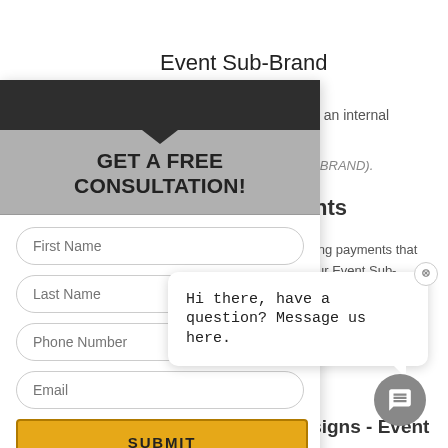Event Sub-Brand
nd is for an internal t.
ompany BRAND).
yments
e recurring payments that art of your Event Sub-
ng.
d Designs - Event on
[Figure (screenshot): Overlay popup with dark top bar, gray header reading GET A FREE CONSULTATION!, and a form with fields for First Name, Last Name, Phone Number, Email, a yellow SUBMIT button, and a VOID WHERE PROHIBITED footer]
[Figure (screenshot): Chat tooltip bubble saying Hi there, have a question? Message us here. with a close button and chat icon button below]